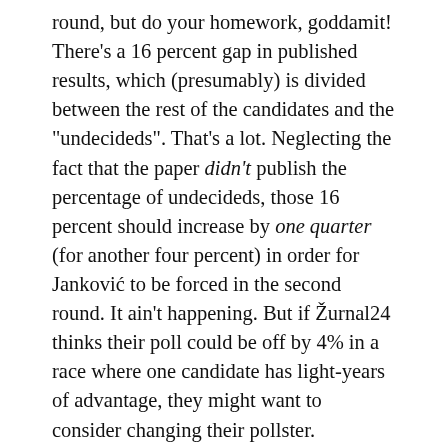round, but do your homework, goddamit! There's a 16 percent gap in published results, which (presumably) is divided between the rest of the candidates and the "undecideds". That's a lot. Neglecting the fact that the paper didn't publish the percentage of undecideds, those 16 percent should increase by one quarter (for another four percent) in order for Janković to be forced in the second round. It ain't happening. But if Žurnal24 thinks their poll could be off by 4% in a race where one candidate has light-years of advantage, they might want to consider changing their pollster.
Speaking of polls being off, Delo doesn't have the best of track records in Ljubljana either. Four years ago, when Janković's List won 45% of the vote and thus won an absolute majority in the City Council, Delo's last poll recorded a meagre 6,5 percent of support for the List of Zoran Janković, while the